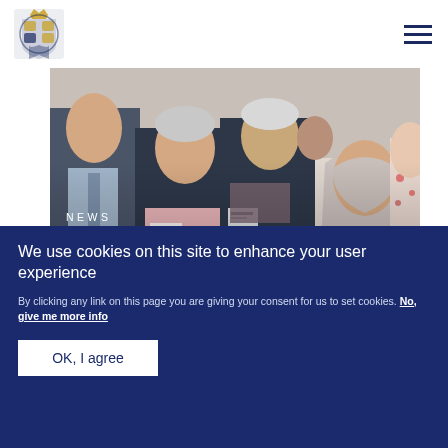[Figure (logo): Royal coat of arms logo in top left corner]
[Figure (photo): Group of people at an event, some wearing name badges, taken indoors. News article photo for 'The Princess Royal visits Gloucestershire'.]
NEWS
The Princess Royal visits Gloucestershire
We use cookies on this site to enhance your user experience
By clicking any link on this page you are giving your consent for us to set cookies. No, give me more info
OK, I agree